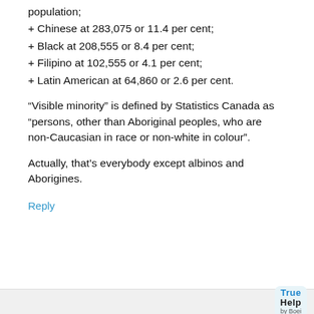population;
+ Chinese at 283,075 or 11.4 per cent;
+ Black at 208,555 or 8.4 per cent;
+ Filipino at 102,555 or 4.1 per cent;
+ Latin American at 64,860 or 2.6 per cent.
“Visible minority” is defined by Statistics Canada as “persons, other than Aboriginal peoples, who are non-Caucasian in race or non-white in colour”.
Actually, that’s everybody except albinos and Aborigines.
Reply
[Figure (logo): True Help by Boei logo badge in bottom right corner]